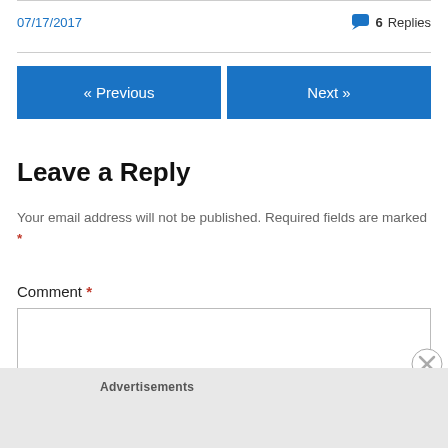07/17/2017
💬 6 Replies
« Previous
Next »
Leave a Reply
Your email address will not be published. Required fields are marked *
Comment *
Advertisements